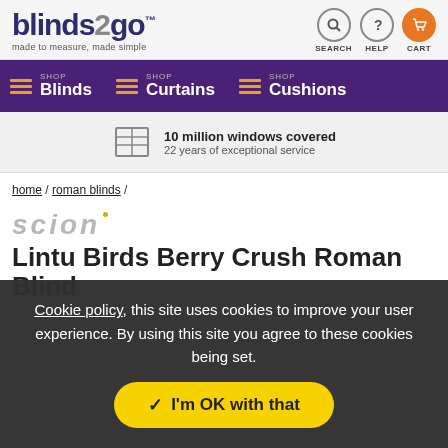blinds2go™ made to measure, made simple — SEARCH HELP CART
[Figure (screenshot): Navigation bar with Blinds, Curtains, Cushions menu items on purple background]
10 million windows covered
22 years of exceptional service
home / roman blinds /
[Figure (logo): Scion brand logo in grey italic text]
Lintu Birds Berry Crush Roman Blind
Cookie policy, this site uses cookies to improve your user experience. By using this site you agree to these cookies being set.